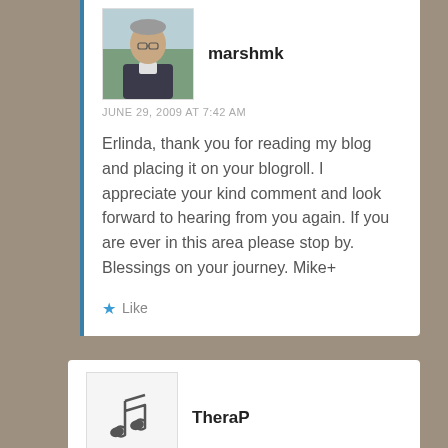[Figure (photo): Avatar photo of marshmk, showing a person in dark clothing against a green background]
marshmk
JUNE 29, 2009 AT 7:42 AM
Erlinda, thank you for reading my blog and placing it on your blogroll. I appreciate your kind comment and look forward to hearing from you again. If you are ever in this area please stop by. Blessings on your journey. Mike+
Like
[Figure (illustration): Music note icon for TheraP avatar]
TheraP